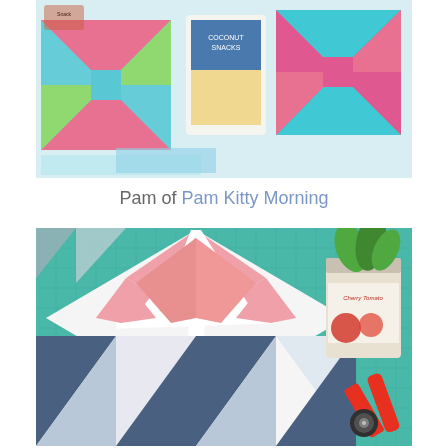[Figure (photo): Top photo showing colorful quilt blocks in teal, pink, and green pinwheel patterns on a table, with a bag of coconut snacks and another quilt block visible]
Pam of Pam Kitty Morning
[Figure (photo): Bottom photo of a large quilt block in progress on a green cutting mat, featuring pink floral fabric with white sashing in a star/pinwheel pattern on top half and navy/white/light blue pinwheel triangles on the bottom half, with a can of cherry tomato plants and an orange rotary cutter visible]